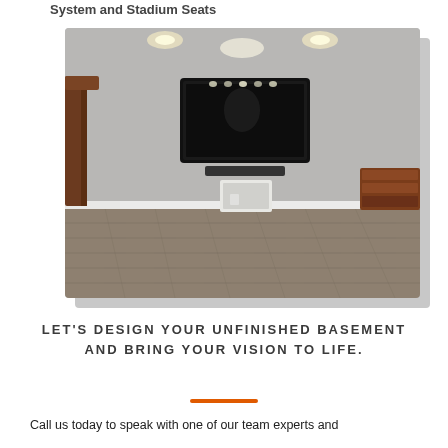System and Stadium Seats
[Figure (photo): Finished basement room with a large flat-screen TV mounted on the wall above a soundbar, hardwood-style flooring, recessed ceiling lights, a wooden bookcase/TV stand on the right, and wooden stair banister on the left. Walls are gray.]
LET'S DESIGN YOUR UNFINISHED BASEMENT AND BRING YOUR VISION TO LIFE.
Call us today to speak with one of our team experts and